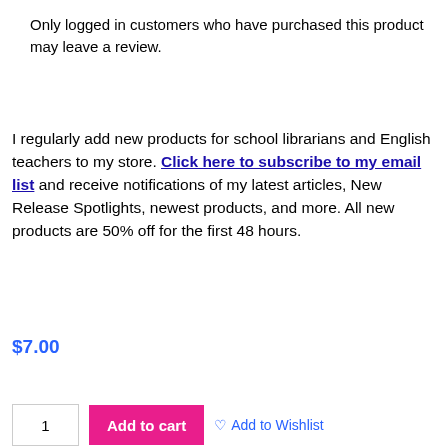Only logged in customers who have purchased this product may leave a review.
I regularly add new products for school librarians and English teachers to my store. Click here to subscribe to my email list and receive notifications of my latest articles, New Release Spotlights, newest products, and more. All new products are 50% off for the first 48 hours.
$7.00
1  Add to cart  ♡ Add to Wishlist